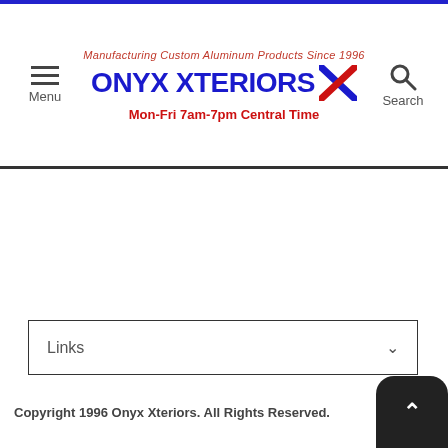[Figure (logo): Onyx Xteriors logo with tagline 'Manufacturing Custom Aluminum Products Since 1996' and hours 'Mon-Fri 7am-7pm Central Time']
Links
Copyright 1996 Onyx Xteriors. All Rights Reserved.